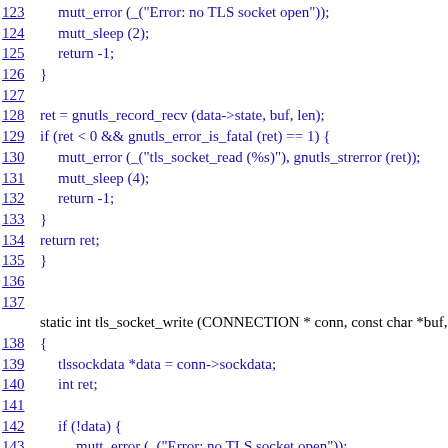123  mutt_error (_("Error: no TLS socket open"));
124  mutt_sleep (2);
125  return -1;
126 }
127
128 ret = gnutls_record_recv (data->state, buf, len);
129 if (ret < 0 && gnutls_error_is_fatal (ret) == 1) {
130  mutt_error (_("tls_socket_read (%s)"), gnutls_strerror (ret));
131  mutt_sleep (4);
132  return -1;
133 }
134 return ret;
135 }
136
137
static int tls_socket_write (CONNECTION * conn, const char *buf, s
138 {
139 tlssockdata *data = conn->sockdata;
140 int ret;
141
142 if (!data) {
143  mutt_error (_("Error: no TLS socket open"));
144  mutt_sleep (2);
145  return -1;
146 }
147